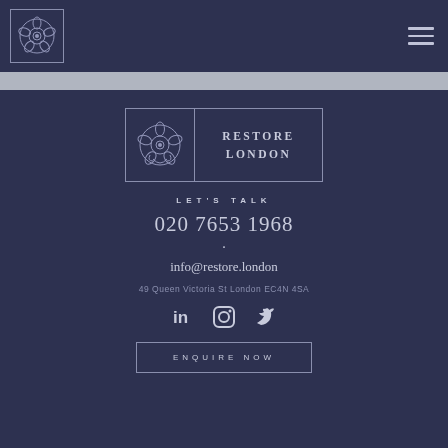[Figure (logo): Restore London floral logo in a square border, top left of dark navy header]
[Figure (other): Hamburger menu icon (three horizontal lines) top right]
[Figure (logo): Restore London logo: floral icon on left, RESTORE LONDON text on right, in bordered box]
LET'S TALK
020 7653 1968
info@restore.london
49 Queen Victoria St London EC4N 4SA
[Figure (other): Social media icons: LinkedIn (in), Instagram, Twitter]
ENQUIRE NOW